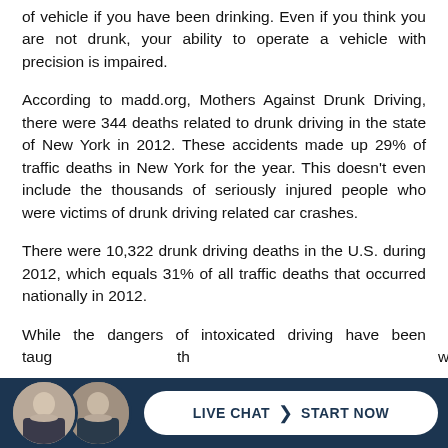of vehicle if you have been drinking. Even if you think you are not drunk, your ability to operate a vehicle with precision is impaired.
According to madd.org, Mothers Against Drunk Driving, there were 344 deaths related to drunk driving in the state of New York in 2012. These accidents made up 29% of traffic deaths in New York for the year. This doesn't even include the thousands of seriously injured people who were victims of drunk driving related car crashes.
There were 10,322 drunk driving deaths in the U.S. during 2012, which equals 31% of all traffic deaths that occurred nationally in 2012.
While the dangers of intoxicated driving have been taught th wn
[Figure (infographic): Dark navy footer bar with two circular avatar photos of men (lawyers) on the left, and a white pill-shaped button reading 'LIVE CHAT > START NOW' on the right.]